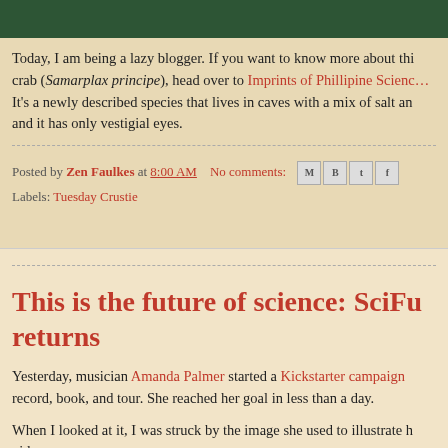[Figure (photo): Top dark green/black image strip, partial view of a crab photograph]
Today, I am being a lazy blogger. If you want to know more about this crab (Samarplax principe), head over to Imprints of Phillipine Science. It's a newly described species that lives in caves with a mix of salt and it has only vestigial eyes.
Posted by Zen Faulkes at 8:00 AM   No comments:
Labels: Tuesday Crustie
This is the future of science: SciFu returns
Yesterday, musician Amanda Palmer started a Kickstarter campaign record, book, and tour. She reached her goal in less than a day.
When I looked at it, I was struck by the image she used to illustrate her video: